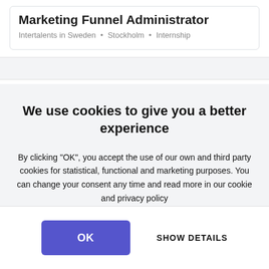Marketing Funnel Administrator
Intertalents in Sweden • Stockholm • Internship
We use cookies to give you a better experience
By clicking "OK", you accept the use of our own and third party cookies for statistical, functional and marketing purposes. You can change your consent any time and read more in our cookie and privacy policy
Only the necessary cookies
OK
SHOW DETAILS